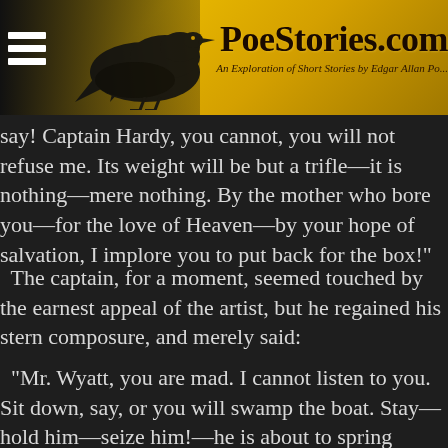PoeStories.com — An Exploration of Short Stories by Edgar Allan Poe
say! Captain Hardy, you cannot, you will not refuse me. Its weight will be but a trifle—it is nothing—mere nothing. By the mother who bore you—for the love of Heaven—by your hope of salvation, I implore you to put back for the box!"
The captain, for a moment, seemed touched by the earnest appeal of the artist, but he regained his stern composure, and merely said:
"Mr. Wyatt, you are mad. I cannot listen to you. Sit down, say, or you will swamp the boat. Stay—hold him—seize him!—he is about to spring overboard! There—I knew it—he is over!"